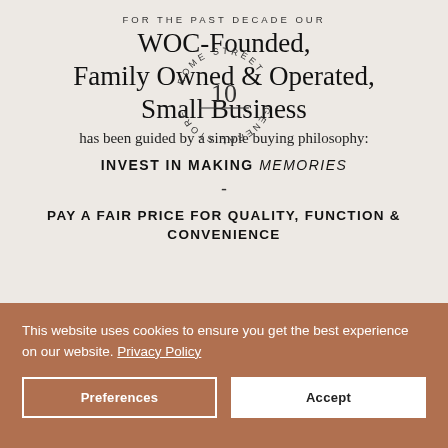FOR THE PAST DECADE OUR
WOC-Founded, Family Owned & Operated, Small Business
[Figure (logo): Circular stamp logo reading 'ROME STREET GENERAL STORE' with the number 10 in the center]
has been guided by a simple buying philosophy:
INVEST IN MAKING MEMORIES
-
PAY A FAIR PRICE FOR QUALITY, FUNCTION & CONVENIENCE
This website uses cookies to ensure you get the best experience on our website. Privacy Policy
Preferences
Accept